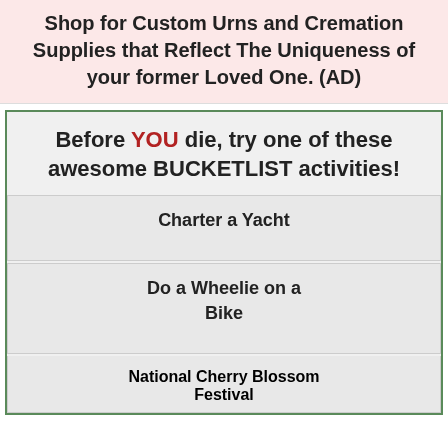Shop for Custom Urns and Cremation Supplies that Reflect The Uniqueness of your former Loved One. (AD)
Before YOU die, try one of these awesome BUCKETLIST activities!
Charter a Yacht
Do a Wheelie on a Bike
National Cherry Blossom Festival